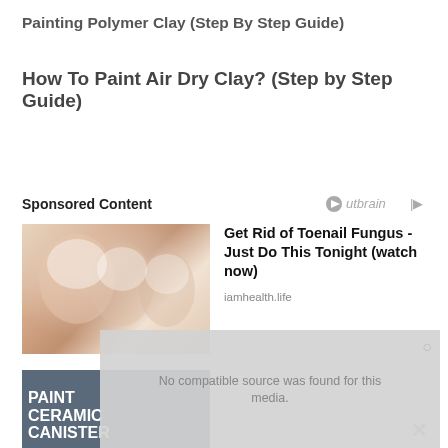Painting Polymer Clay (Step By Step Guide)
How To Paint Air Dry Clay? (Step by Step Guide)
Sponsored Content
[Figure (logo): Outbrain logo with play button icon]
[Figure (photo): Close-up photo of toes with toenail fungus covered in white cream/substance]
Get Rid of Toenail Fungus - Just Do This Tonight (watch now)
iamhealth.life
No compatible source was found for this media.
[Figure (screenshot): Partially visible second ad showing PAINT CERAMIC CANISTER text on dark background]